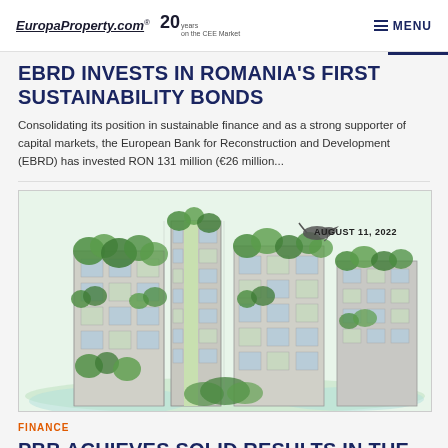EuropaProperty.com® 20 years on the CEE Market   MENU
EBRD INVESTS IN ROMANIA'S FIRST SUSTAINABILITY BONDS
Consolidating its position in sustainable finance and as a strong supporter of capital markets, the European Bank for Reconstruction and Development (EBRD) has invested RON 131 million (€26 million...
[Figure (illustration): Illustration of green buildings with vegetation/plants growing on facades, dated AUGUST 11, 2022]
AUGUST 11, 2022
FINANCE
PBB ACHIEVES SOLID RESULTS IN THE FIRST